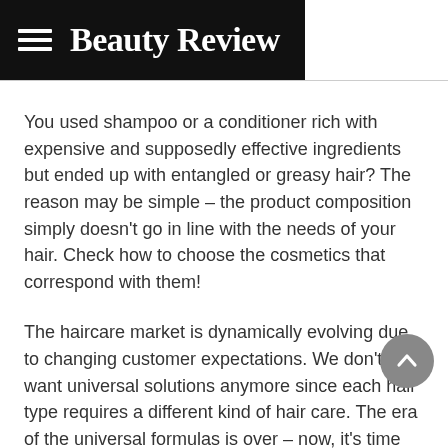Beauty Review
You used shampoo or a conditioner rich with expensive and supposedly effective ingredients but ended up with entangled or greasy hair? The reason may be simple – the product composition simply doesn't go in line with the needs of your hair. Check how to choose the cosmetics that correspond with them!
The haircare market is dynamically evolving due to changing customer expectations. We don't want universal solutions anymore since each hair type requires a different kind of hair care. The era of the universal formulas is over – now, it's time for personalization. Getting to